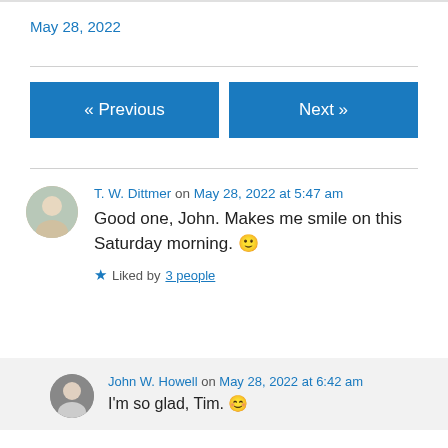May 28, 2022
« Previous
Next »
T. W. Dittmer on May 28, 2022 at 5:47 am
Good one, John. Makes me smile on this Saturday morning. 🙂
Liked by 3 people
John W. Howell on May 28, 2022 at 6:42 am
I'm so glad, Tim. 😊